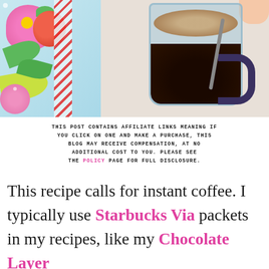[Figure (photo): Top-down photo of a glass measuring cup containing dissolved instant coffee (dark liquid with brown foam/residue on top), next to a colorful floral-patterned fabric/cloth with pink, green, and red colors on a light background.]
THIS POST CONTAINS AFFILIATE LINKS MEANING IF YOU CLICK ON ONE AND MAKE A PURCHASE, THIS BLOG MAY RECEIVE COMPENSATION, AT NO ADDITIONAL COST TO YOU. PLEASE SEE THE POLICY PAGE FOR FULL DISCLOSURE.
This recipe calls for instant coffee. I typically use Starbucks Via packets in my recipes, like my Chocolate Layer